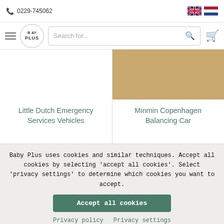📞 0229-745062
[Figure (screenshot): Baby Plus logo in a circle, search bar, hamburger menu, cart icon, UK and NL flag icons]
[Figure (photo): Left product card: Little Dutch Emergency Services Vehicles — white/empty image area]
[Figure (photo): Right product card: Minmin Copenhagen Balancing Car — tan/brown product image]
Little Dutch Emergency Services Vehicles
Minmin Copenhagen Balancing Car
Baby Plus uses cookies and similar techniques. Accept all cookies by selecting 'accept all cookies'. Select 'privacy settings' to determine which cookies you want to accept.
Accept all cookies
Privacy policy  Privacy settings